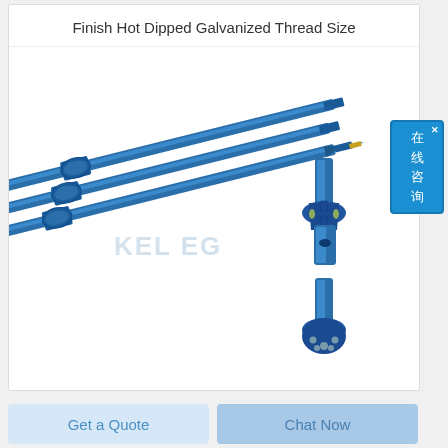Finish Hot Dipped Galvanized Thread Size
[Figure (photo): Blue galvanized drill rods / mining extension rods with threaded couplings, drill bits (cross-bit and button-bit styles), and a coupling sleeve, arranged diagonally on a white background. Products are blue steel mining/drilling tools. Watermark 'KELREG' visible.]
Get a Quote
Chat Now